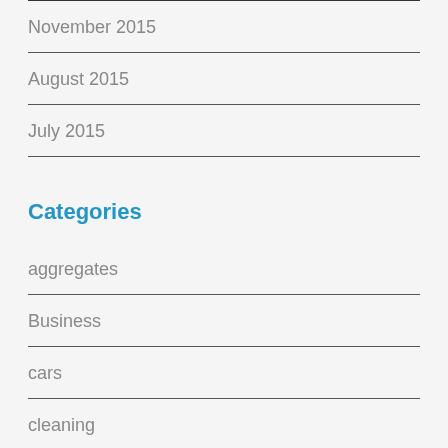November 2015
August 2015
July 2015
Categories
aggregates
Business
cars
cleaning